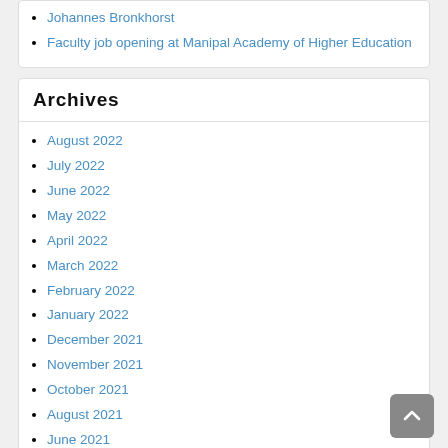Johannes Bronkhorst
Faculty job opening at Manipal Academy of Higher Education
Archives
August 2022
July 2022
June 2022
May 2022
April 2022
March 2022
February 2022
January 2022
December 2021
November 2021
October 2021
August 2021
June 2021
May 2021
April 2021
March 2021